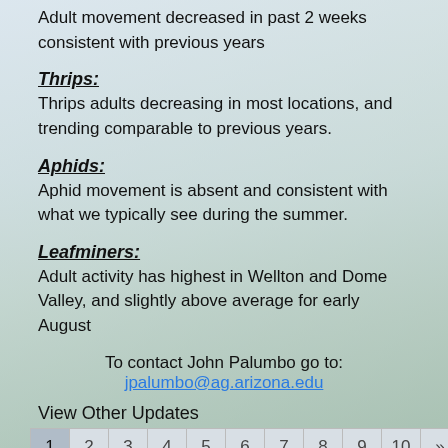Adult movement decreased in past 2 weeks consistent with previous years
Thrips:
Thrips adults decreasing in most locations, and trending comparable to previous years.
Aphids:
Aphid movement is absent and consistent with what we typically see during the summer.
Leafminers:
Adult activity has highest in Wellton and Dome Valley, and slightly above average for early August
To contact John Palumbo go to:
jpalumbo@ag.arizona.edu
View Other Updates
1  2  3  4  5  6  7  8  9  10  »